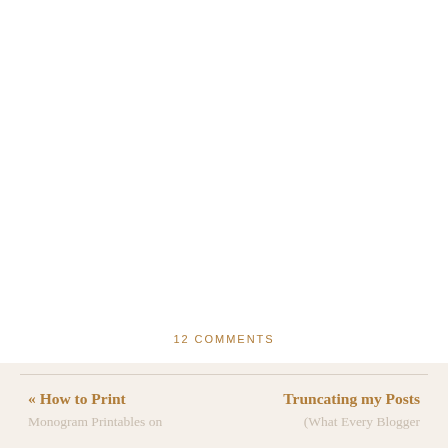12 COMMENTS
« How to Print
Monogram Printables on
Truncating my Posts
(What Every Blogger